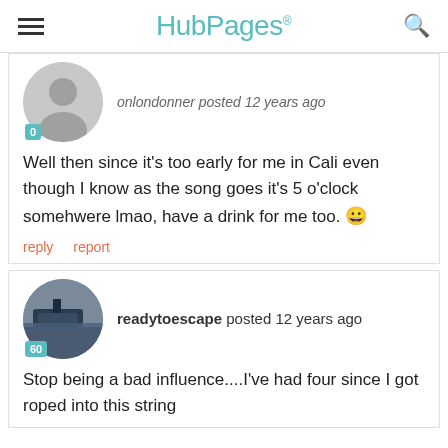HubPages
onlondonner posted 12 years ago
Well then since it's too early for me in Cali even though I know as the song goes it's 5 o'clock somehwere lmao, have a drink for me too. 🙂
reply   report
readytoescape posted 12 years ago
Stop being a bad influence....I've had four since I got roped into this string